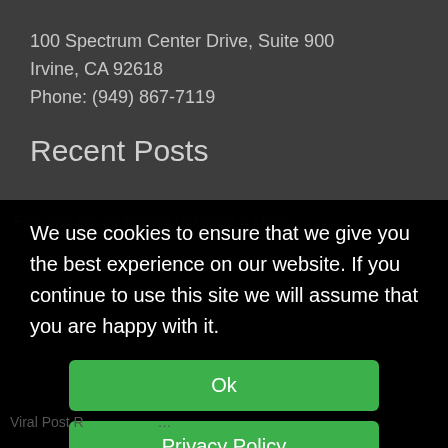100 Spectrum Center Drive, Suite 900
Irvine, CA 92618
Phone: (949) 867-7119
Recent Posts
We use cookies to ensure that we give you the best experience on our website. If you continue to use this site we will assume that you are happy with it.
Ok
Privacy Policy